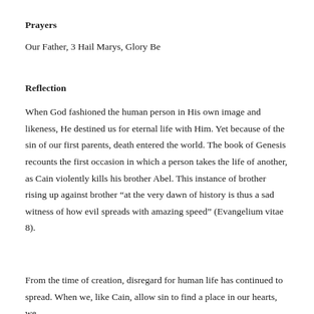Prayers
Our Father, 3 Hail Marys, Glory Be
Reflection
When God fashioned the human person in His own image and likeness, He destined us for eternal life with Him. Yet because of the sin of our first parents, death entered the world. The book of Genesis recounts the first occasion in which a person takes the life of another, as Cain violently kills his brother Abel. This instance of brother rising up against brother “at the very dawn of history is thus a sad witness of how evil spreads with amazing speed” (Evangelium vitae 8).
From the time of creation, disregard for human life has continued to spread. When we, like Cain, allow sin to find a place in our hearts, we